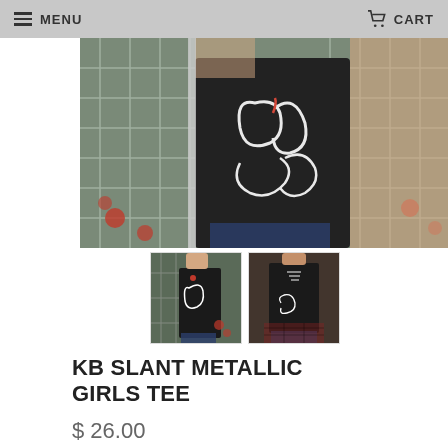MENU    CART
[Figure (photo): Person wearing a black t-shirt with white metallic script lettering, standing in front of a metal fence with red flowers in background]
[Figure (photo): Thumbnail: front view of person wearing the black KB Slant Metallic Girls Tee]
[Figure (photo): Thumbnail: back view of the black KB Slant Metallic Girls Tee]
KB SLANT METALLIC GIRLS TEE
$ 26.00